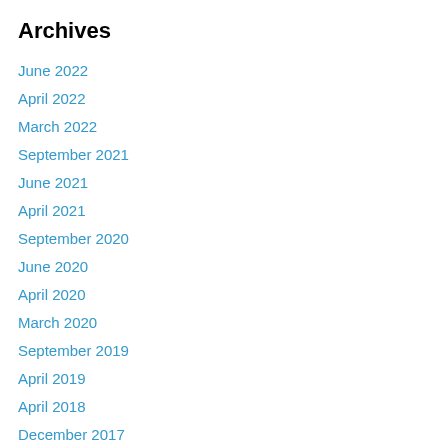Archives
June 2022
April 2022
March 2022
September 2021
June 2021
April 2021
September 2020
June 2020
April 2020
March 2020
September 2019
April 2019
April 2018
December 2017
September 2017
May 2017
April 2017
September 2016